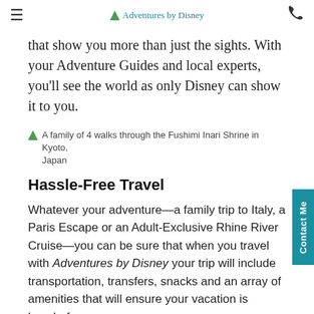Adventures by Disney
that show you more than just the sights. With your Adventure Guides and local experts, you'll see the world as only Disney can show it to you.
A family of 4 walks through the Fushimi Inari Shrine in Kyoto, Japan
Hassle-Free Travel
Whatever your adventure—a family trip to Italy, a Paris Escape or an Adult-Exclusive Rhine River Cruise—you can be sure that when you travel with Adventures by Disney your trip will include transportation, transfers, snacks and an array of amenities that will ensure your vacation is hassle-free.